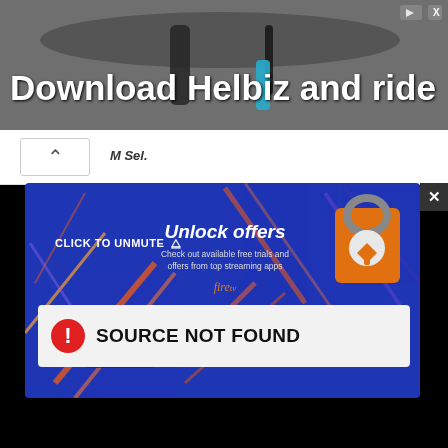[Figure (screenshot): Top advertisement banner showing 'Download Helbiz and ride' text over a dark background with a bicycle handlebar image and small ad icons in top right corner]
[Figure (screenshot): Amazon Fire TV advertisement on blue background with orange/purple decorative streaks, padlock icon, 'Unlock offers' headline, 'Check out available free trials and offers from top streaming apps', Fire TV logo, and Learn More button]
CLICK TO UNMUTE
[Figure (screenshot): Error message box with red circle exclamation icon and text 'SOURCE NOT FOUND' on light grey background, overlaid on a black video player area]